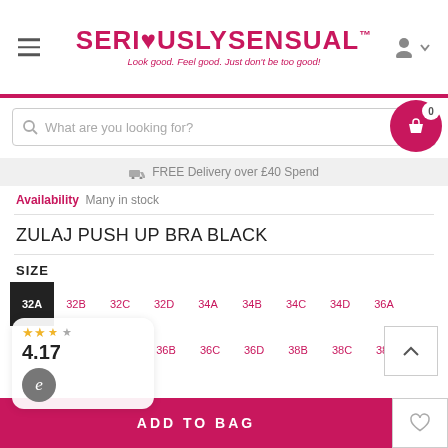SERI❤USLYSENSUAL™ — Look good. Feel good. Just don't be too good!
What are you looking for?
FREE Delivery over £40 Spend
Availability  Many in stock
ZULAJ PUSH UP BRA BLACK
SIZE
32A 32B 32C 32D 34A 34B 34C 34D 36A 36B 36C 36D 38B 38C 38D
4.17
ADD TO BAG